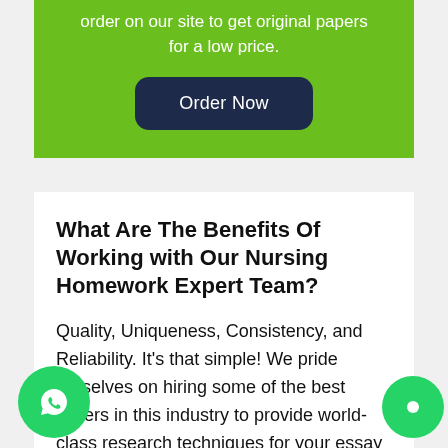order on our site to get original papers for a low price.
[Figure (other): Dark navy rounded button with text 'Order Now']
What Are The Benefits Of Working with Our Nursing Homework Expert Team?
Quality, Uniqueness, Consistency, and Reliability. It's that simple! We pride ourselves on hiring some of the best writers in this industry to provide world-class research techniques for your essay writing needs.